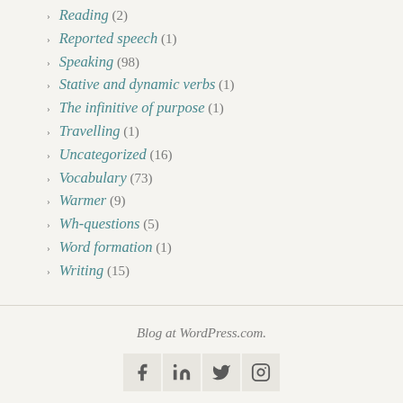Reading (2)
Reported speech (1)
Speaking (98)
Stative and dynamic verbs (1)
The infinitive of purpose (1)
Travelling (1)
Uncategorized (16)
Vocabulary (73)
Warmer (9)
Wh-questions (5)
Word formation (1)
Writing (15)
Blog at WordPress.com.